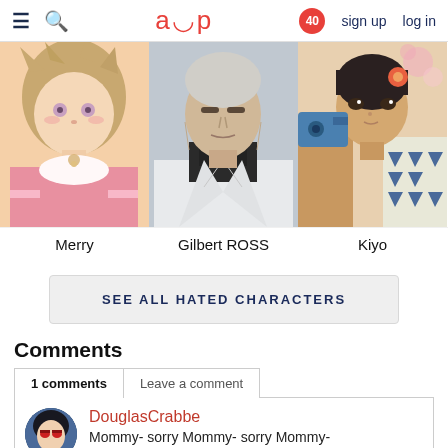aup | sign up  log in  [notification badge: 40]
[Figure (photo): Anime character Merry - pink-haired character in pink hoodie]
[Figure (photo): Anime character Gilbert ROSS - older man in white suit with black turtleneck]
[Figure (photo): Anime character Kiyo - character in patterned robe]
Merry
Gilbert ROSS
Kiyo
SEE ALL HATED CHARACTERS
Comments
1 comments   Leave a comment
DouglasCrabbe
Mommy- sorry Mommy- sorry Mommy-